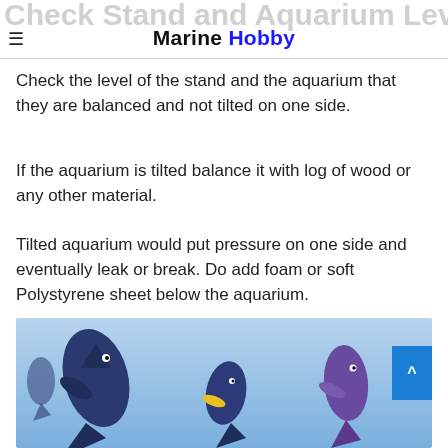Check Stand and Aquarium Level — Marine Hobby
Check the level of the stand and the aquarium that they are balanced and not tilted on one side.
If the aquarium is tilted balance it with log of wood or any other material.
Tilted aquarium would put pressure on one side and eventually leak or break. Do add foam or soft Polystyrene sheet below the aquarium.
[Figure (photo): Underwater photo showing tropical fish (blue/purple angelfish-type) swimming against a blue background.]